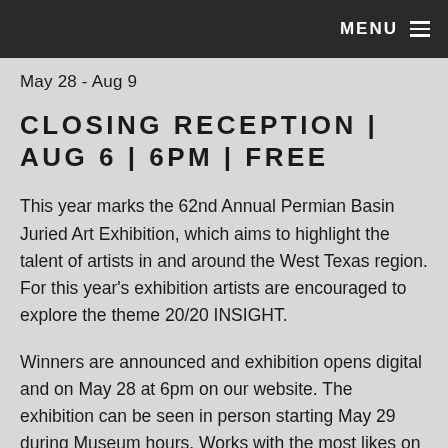MENU ☰
May 28 - Aug 9
CLOSING RECEPTION | AUG 6 | 6PM | FREE
This year marks the 62nd Annual Permian Basin Juried Art Exhibition, which aims to highlight the talent of artists in and around the West Texas region. For this year's exhibition artists are encouraged to explore the theme 20/20 INSIGHT.
Winners are announced and exhibition opens digital and on May 28 at 6pm on our website. The exhibition can be seen in person starting May 29 during Museum hours. Works with the most likes on the